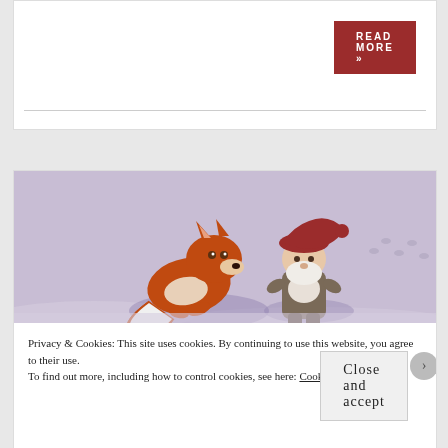READ MORE »
[Figure (illustration): Illustration of a red fox and a gnome/tomte figure in a snowy scene]
Privacy & Cookies: This site uses cookies. By continuing to use this website, you agree to their use.
To find out more, including how to control cookies, see here: Cookie Policy
Close and accept